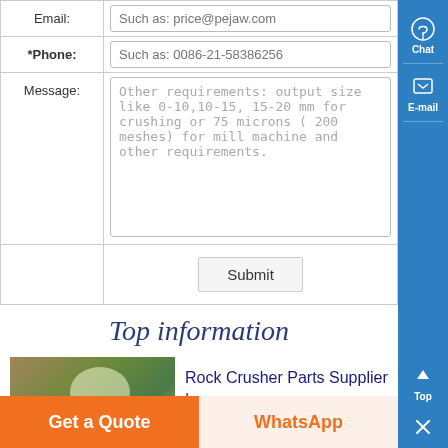| Field | Input |
| --- | --- |
| Email: | Such as: price@pejaw.com |
| *Phone: | Such as: 0086-21-58386256 |
| Message: | Other requirements: output size like 0-10,10-15, 15-20 mm for crushing or 75 microns ( 200 meshes) for mill machine and other requirements. |
|  | Submit |
Top information
[Figure (photo): Outdoor scene with machinery, rock crusher or aggregate equipment in a forested area]
Rock Crusher Parts Supplier | Aggregate Impact Machine ,
Get a Quote
WhatsApp